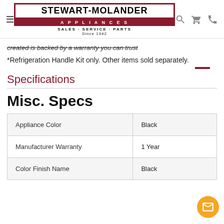Stewart-Molander Appliances — Sales · Service · Parts — Since 1942
created is backed by a warranty you can trust
*Refrigeration Handle Kit only. Other items sold separately.
Specifications
Misc. Specs
|  |  |
| --- | --- |
| Appliance Color | Black |
| Manufacturer Warranty | 1 Year |
| Color Finish Name | Black |